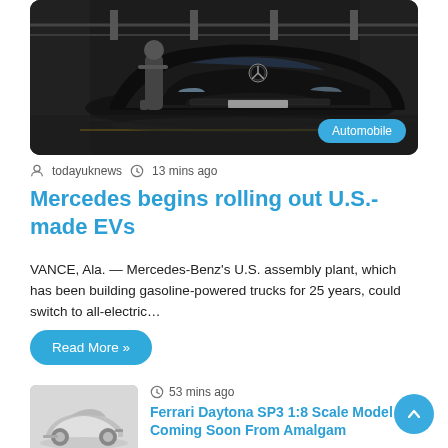[Figure (photo): A black Mercedes-Benz EV on an assembly line with a worker inspecting it. Category badge 'Automobile' in blue bottom-right.]
todayuknews  13 mins ago
Mercedes begins rolling out U.S.-made EVs
VANCE, Ala. — Mercedes-Benz's U.S. assembly plant, which has been building gasoline-powered trucks for 25 years, could switch to all-electric…
Read More »
[Figure (photo): Gray Ferrari Daytona SP3 scale model car, side view against white background.]
53 mins ago
Ferrari Daytona SP3 1:8 Scale Model Coming Soon From Amalgam